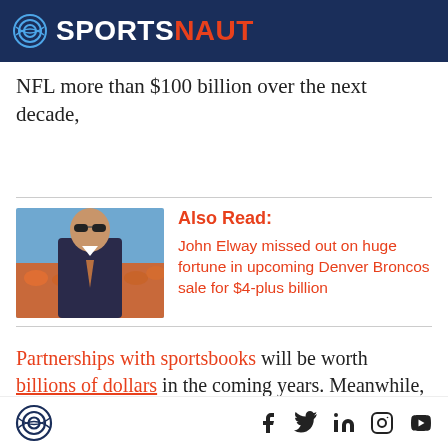SPORTSNAUT
NFL more than $100 billion over the next decade,
[Figure (photo): Photo of John Elway in sunglasses and suit on a football field with orange crowd in background]
Also Read:
John Elway missed out on huge fortune in upcoming Denver Broncos sale for $4-plus billion
Partnerships with sportsbooks will be worth billions of dollars in the coming years. Meanwhile, the NFL
Sportsnaut logo and social media icons: Facebook, Twitter, LinkedIn, Instagram, YouTube